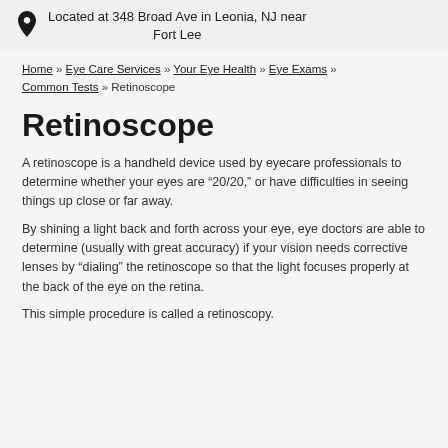Located at 348 Broad Ave in Leonia, NJ near Fort Lee
Home » Eye Care Services » Your Eye Health » Eye Exams » Common Tests » Retinoscope
Retinoscope
A retinoscope is a handheld device used by eyecare professionals to determine whether your eyes are “20/20,” or have difficulties in seeing things up close or far away.
By shining a light back and forth across your eye, eye doctors are able to determine (usually with great accuracy) if your vision needs corrective lenses by “dialing” the retinoscope so that the light focuses properly at the back of the eye on the retina.
This simple procedure is called a retinoscopy.